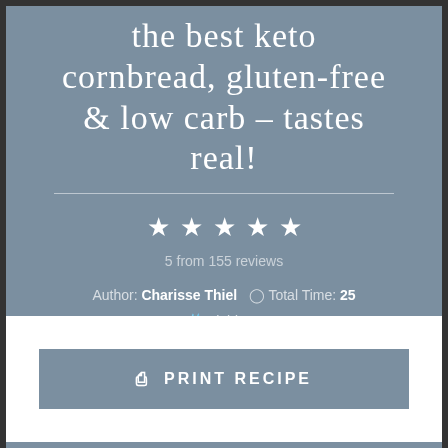the best keto cornbread, gluten-free & low carb – tastes real!
5 from 155 reviews
Author: Charisse Thiel   ⊙ Total Time: 25
¥1 Yield: 10
PRINT RECIPE